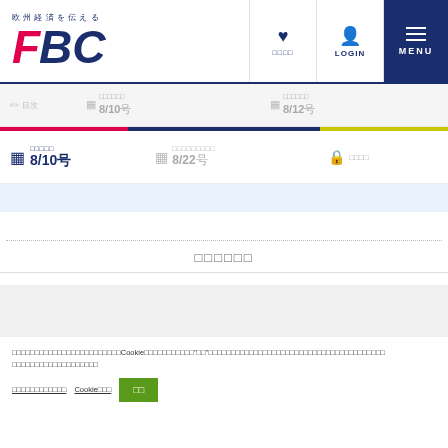欧州経済を伝える FBC - ナビゲーションメニュー、LOGINリンクを含むヘッダー
最新コラム 8/10号 / 最新レポート 8/12号
最新コラム 8/10号 / ブリュッセル特電 8/22号 / ログイン
コラム一覧
当ウェブサイトではCookieを使用しています。「同意」をクリックすることで、Cookieの使用に同意するものとします。プライバシーポリシーをご参照ください。
プライバシーポリシー　Cookie設定　同意